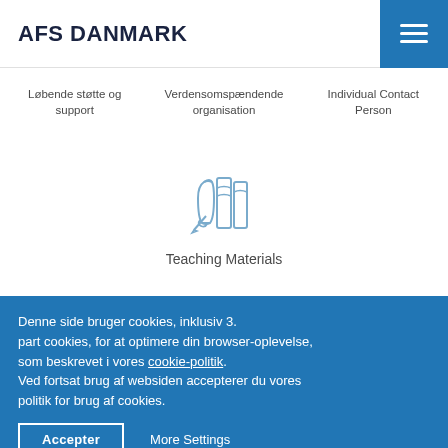AFS DANMARK
Løbende støtte og support
Verdensomspændende organisation
Individual Contact Person
[Figure (illustration): Icon of two books or scrolls in blue outline style]
Teaching Materials
[Figure (illustration): Wavy decorative line divider in muted purple/mauve color]
Denne side bruger cookies, inklusiv 3. part cookies, for at optimere din browser-oplevelse, som beskrevet i vores cookie-politik. Ved fortsat brug af websiden accepterer du vores politik for brug af cookies.
Accepter
More Settings